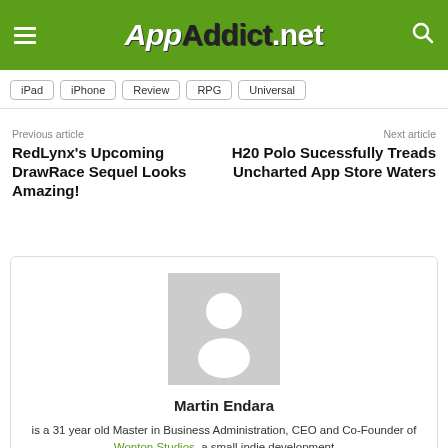AppAddict.net
iPad
iPhone
Review
RPG
Universal
Previous article
RedLynx's Upcoming DrawRace Sequel Looks Amazing!
Next article
H20 Polo Sucessfully Treads Uncharted App Store Waters
[Figure (photo): Generic user avatar placeholder — grey square with white silhouette of a person]
Martin Endara
is a 31 year old Master in Business Administration, CEO and Co-Founder of Wonton Studios, a small indie development